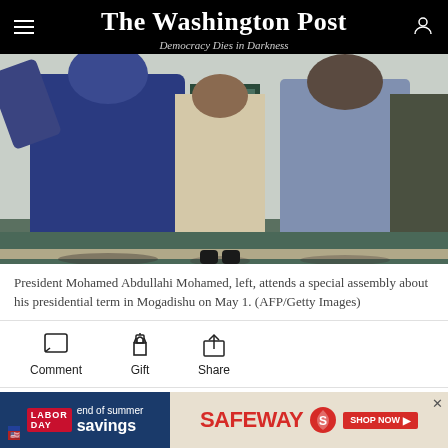The Washington Post — Democracy Dies in Darkness
[Figure (photo): President Mohamed Abdullahi Mohamed, left, attends a special assembly about his presidential term in Mogadishu on May 1. Several men in dark and light clothing walking together.]
President Mohamed Abdullahi Mohamed, left, attends a special assembly about his presidential term in Mogadishu on May 1. (AFP/Getty Images)
Comment  Gift  Share
NAIROBI — Somalia's federal government and
[Figure (screenshot): Safeway Labor Day end of summer savings advertisement banner]